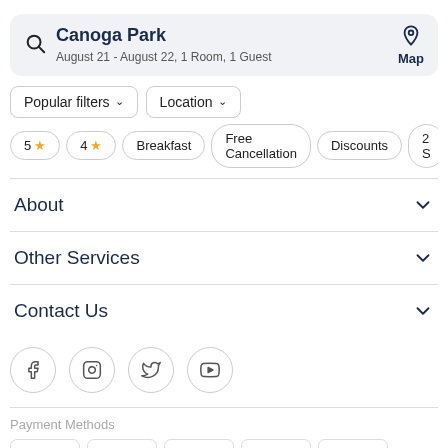Canoga Park
August 21 - August 22, 1 Room, 1 Guest
Popular filters
Location
5 ★
4 ★
Breakfast
Free Cancellation
Discounts
2 S
About
Other Services
Contact Us
[Figure (infographic): Social media icons: Facebook, Instagram, Twitter, YouTube]
Payment Methods
[Figure (infographic): Payment method logos: VISA, Mastercard, PayPal, Apple Pay, Google Pay]